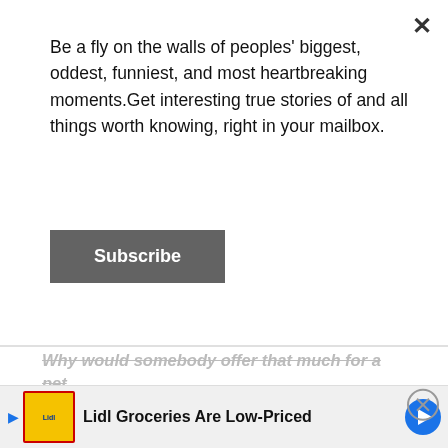Be a fly on the walls of peoples' biggest, oddest, funniest, and most heartbreaking moments.Get interesting true stories of and all things worth knowing, right in your mailbox.
Subscribe
Why would somebody offer that much for a pet
- FaithlessnessOk1530
"ohhh! 200 IQ response!"
- vegdeg
"I mean, maybe my pet could be working for the government beating up a scientist who is mistaken for a pharmacist and makes inventions that a...em
Lidl Groceries Are Low-Priced